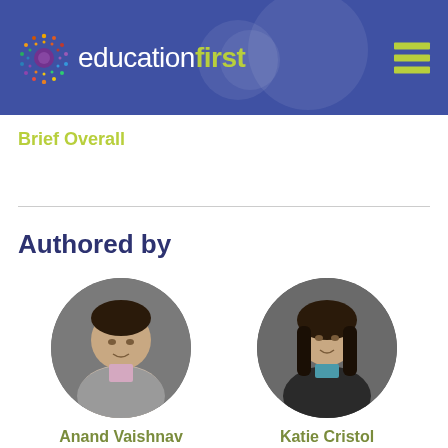[Figure (logo): Education First logo with colorful circular icon on blue header bar with hamburger menu]
Brief Overall
Authored by
[Figure (photo): Circular portrait photo of Anand Vaishnav, a man in a grey jacket]
Anand Vaishnav
Principal and Senior
[Figure (photo): Circular portrait photo of Katie Cristol, a woman with dark hair]
Katie Cristol
Collaborator